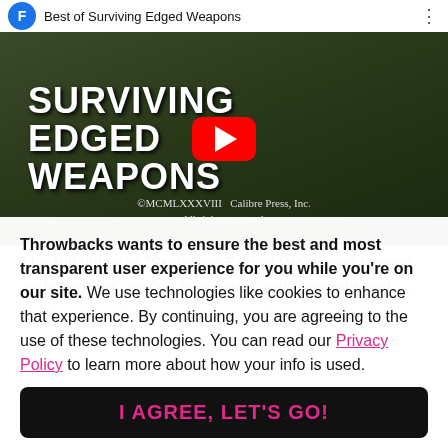[Figure (screenshot): YouTube video thumbnail for 'Best of Surviving Edged Weapons' showing the title text 'Surviving Edged Weapons' over a dark green forest background with a YouTube play button in the center. Copyright text reads '©MCMLXXXVIII Calibre Press, Inc. All rights reserved.']
The full video of "Surviving Edged Weapons" is over an hour long, and so overacted and paranoid that we can't believe it wasn't about a conspiracy theor...
Throwbacks wants to ensure the best and most transparent user experience for you while you're on our site. We use technologies like cookies to enhance that experience. By continuing, you are agreeing to the use of these technologies. You can read our Privacy Policy to learn more about how your info is used.
I AGREE, LET'S GO!